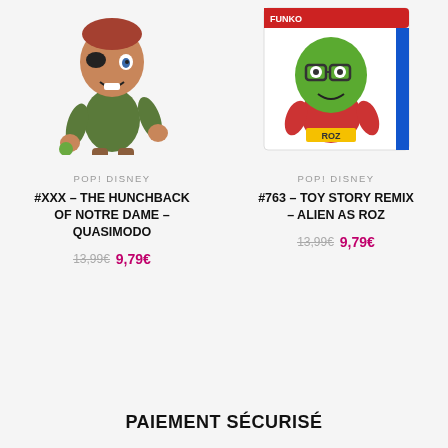[Figure (photo): Funko Pop vinyl figure of Quasimodo from The Hunchback of Notre Dame, standing character with green shirt]
[Figure (photo): Funko Pop vinyl figure #763 Alien as Roz from Toy Story Remix, shown in product box with green alien character wearing glasses]
POP! DISNEY
#XXX – THE HUNCHBACK OF NOTRE DAME – QUASIMODO
13,99€ 9,79€
POP! DISNEY
#763 – TOY STORY REMIX – ALIEN AS ROZ
13,99€ 9,79€
PAIEMENT SÉCURISÉ